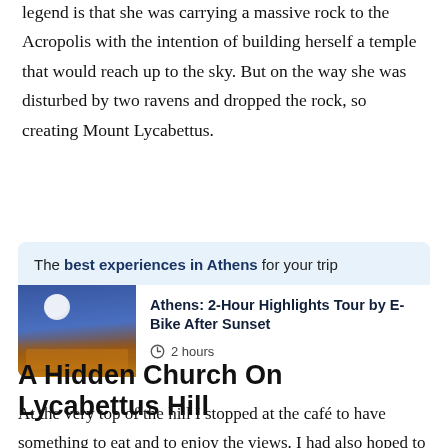legend is that she was carrying a massive rock to the Acropolis with the intention of building herself a temple that would reach up to the sky. But on the way she was disturbed by two ravens and dropped the rock, so creating Mount Lycabettus.
[Figure (infographic): Promotional box with light blue background reading 'The best experiences in Athens for your trip', containing a card for 'Athens: 2-Hour Highlights Tour by E-Bike After Sunset' with a photo of the Acropolis lit up at night with a full moon, and '2 hours' duration.]
A Hidden Church On Lycabettus Hill
At the very top of the hill I stopped at the café to have something to eat and to enjoy the views. I had also hoped to visit the small chapel of St George but it was closed for cleaning. However I did manage to peep around the door,